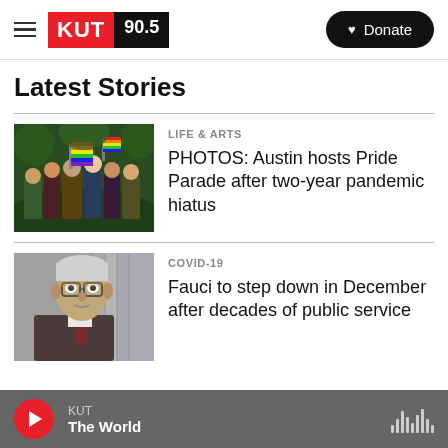KUT 90.5 — Donate
Latest Stories
[Figure (photo): Crowd at Austin Pride Parade, people in rainbow colors celebrating outdoors]
Life & Arts
PHOTOS: Austin hosts Pride Parade after two-year pandemic hiatus
[Figure (photo): Dr. Anthony Fauci in suit, gray-haired man with glasses looking down, American flag in background]
COVID-19
Fauci to step down in December after decades of public service
KUT — The World